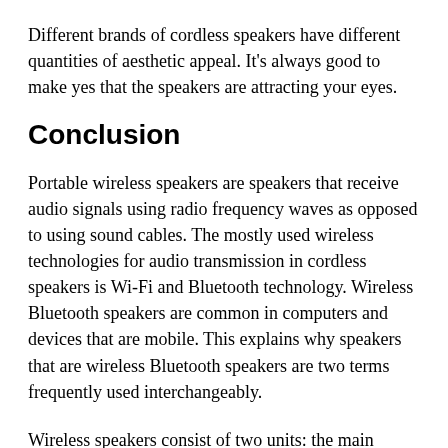Different brands of cordless speakers have different quantities of aesthetic appeal. It's always good to make yes that the speakers are attracting your eyes.
Conclusion
Portable wireless speakers are speakers that receive audio signals using radio frequency waves as opposed to using sound cables. The mostly used wireless technologies for audio transmission in cordless speakers is Wi-Fi and Bluetooth technology. Wireless Bluetooth speakers are common in computers and devices that are mobile. This explains why speakers that are wireless Bluetooth speakers are two terms frequently used interchangeably.
Wireless speakers consist of two units: the main